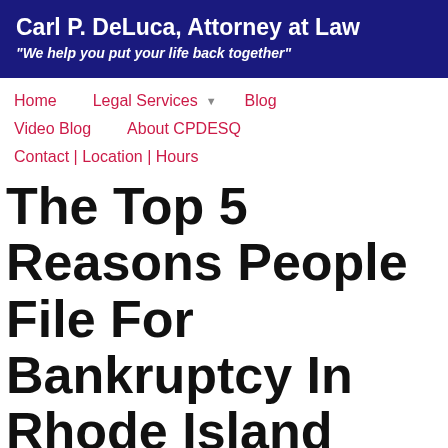[Figure (logo): Dark navy blue banner with law firm name and tagline. Text: 'Carl P. DeLuca, Attorney at Law' and '"We help you put your life back together"']
Home   Legal Services ▼   Blog   Video Blog   About CPDESQ   Contact | Location | Hours
The Top 5 Reasons People File For Bankruptcy In Rhode Island